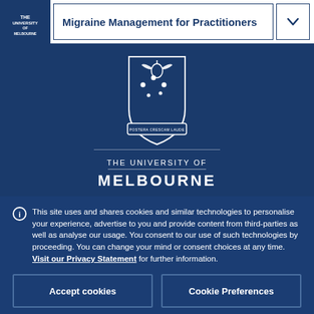Migraine Management for Practitioners
[Figure (logo): University of Melbourne crest logo with angel figure, stars, and banner reading POSTERA CRESCAM LAUDE, with text THE UNIVERSITY OF MELBOURNE below]
This site uses and shares cookies and similar technologies to personalise your experience, advertise to you and provide content from third-parties as well as analyse our usage. You consent to our use of such technologies by proceeding. You can change your mind or consent choices at any time. Visit our Privacy Statement for further information.
Accept cookies
Cookie Preferences